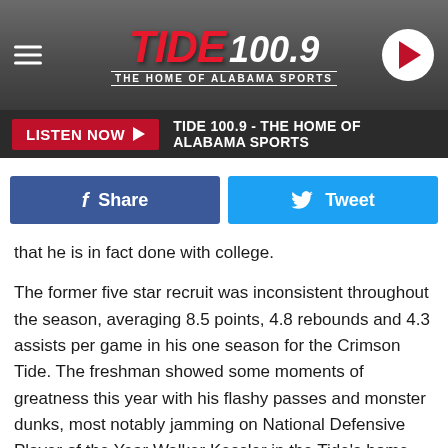[Figure (logo): Tide 100.9 - The Home of Alabama Sports radio station header with logo, hamburger menu, and play button]
LISTEN NOW ▶  TIDE 100.9 - THE HOME OF ALABAMA SPORTS
[Figure (infographic): Facebook Share button and Twitter Tweet button row]
that he is in fact done with college.
The former five star recruit was inconsistent throughout the season, averaging 8.5 points, 4.8 rebounds and 4.3 assists per game in his one season for the Crimson Tide. The freshman showed some moments of greatness this year with his flashy passes and monster dunks, most notably jamming on National Defensive Player of the Year Walker Kessler in the Tide's home matchup with Auburn.
Sponsored